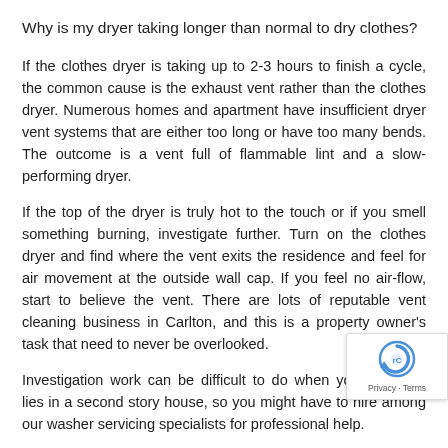Why is my dryer taking longer than normal to dry clothes?
If the clothes dryer is taking up to 2-3 hours to finish a cycle, the common cause is the exhaust vent rather than the clothes dryer. Numerous homes and apartment have insufficient dryer vent systems that are either too long or have too many bends. The outcome is a vent full of flammable lint and a slow-performing dryer.
If the top of the dryer is truly hot to the touch or if you smell something burning, investigate further. Turn on the clothes dryer and find where the vent exits the residence and feel for air movement at the outside wall cap. If you feel no air-flow, start to believe the vent. There are lots of reputable vent cleaning business in Carlton, and this is a property owner’s task that need to never be overlooked.
Investigation work can be difficult to do when your machine lies in a second story house, so you might have to hire among our washer servicing specialists for professional help.
With our quick same day, friendly service we’ll have your washing machine repaired in no time. Or dryer fixed for that matter, no hassle, we simply finish the job.
Our group effectively covers most Melbourne suburbs. In many